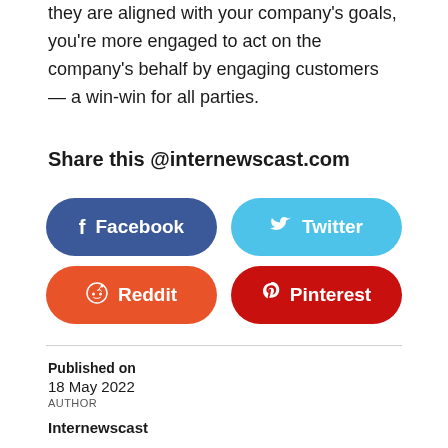they are aligned with your company's goals, you're more engaged to act on the company's behalf by engaging customers — a win-win for all parties.
Share this @internewscast.com
[Figure (other): Social share buttons: Facebook (dark blue), Twitter (light blue), Reddit (orange-red), Pinterest (dark red)]
Published on
18 May 2022
AUTHOR

Internewscast